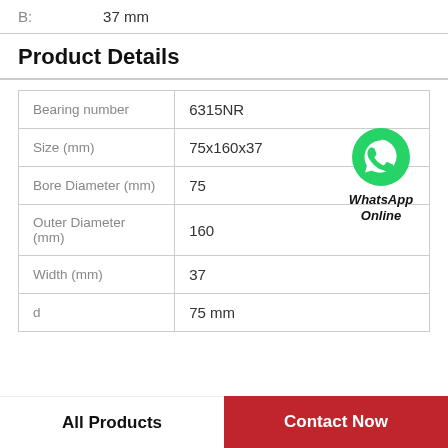B: 37 mm
Product Details
|  |  |
| --- | --- |
| Bearing number | 6315NR |
| Size (mm) | 75x160x37 |
| Bore Diameter (mm) | 75 |
| Outer Diameter (mm) | 160 |
| Width (mm) | 37 |
| d | 75 mm |
[Figure (logo): WhatsApp Online badge with green phone icon and bold italic text 'WhatsApp Online']
All Products
Contact Now